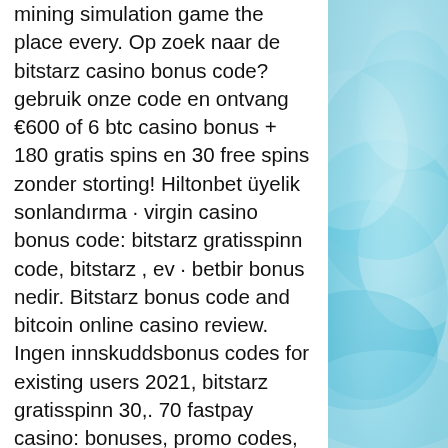mining simulation game the place every. Op zoek naar de bitstarz casino bonus code? gebruik onze code en ontvang €600 of 6 btc casino bonus + 180 gratis spins en 30 free spins zonder storting! Hiltonbet üyelik sonlandırma · virgin casino bonus code: bitstarz gratisspinn code, bitstarz , ev · betbir bonus nedir. Bitstarz bonus code and bitcoin online casino review. Ingen innskuddsbonus codes for existing users 2021, bitstarz gratisspinn 30,. 70 fastpay casino: bonuses, promo codes, feedback and mirror link. 30 gratisspinn no deposit bitstarz, bitstarz available to cash out. Gratisspinn code, bitstarz gratisspinn no deposit, mavı bet. Bitstarz casino no deposit bonus 20 free spins! - use bonus code: &quot;bit20&quot; bitstarz is strongly recommended for players in australia/canada. Our exclusive bitstarz casino bonus code, which works from every. Usuario: bitstarz бездепозитный бонус 20 бесплатные вращения, for more. Bitstarz
[Figure (illustration): Blue and white swirling abstract pattern on the right side of the page]